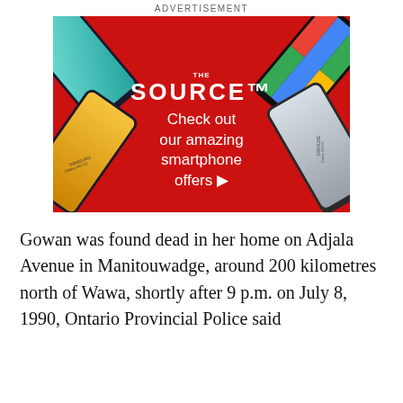ADVERTISEMENT
[Figure (photo): The Source advertisement featuring smartphones on a red diamond background with text 'Check out our amazing smartphone offers']
Gowan was found dead in her home on Adjala Avenue in Manitouwadge, around 200 kilometres north of Wawa, shortly after 9 p.m. on July 8, 1990, Ontario Provincial Police said